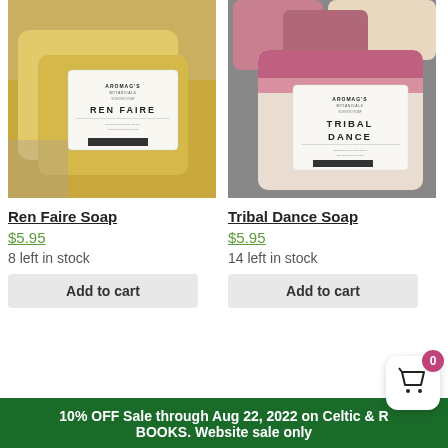[Figure (photo): Close-up of yellow Ren Faire scented soap bars with Aromag's Botanicals label]
[Figure (photo): Close-up of pink/cream Tribal Dance scented soap bars with Aromag's Botanicals label]
Ren Faire Soap
Tribal Dance Soap
$5.95
$5.95
8 left in stock
14 left in stock
Add to cart
Add to cart
10% OFF Sale through Aug 22, 2022 on Celtic & R BOOKS. Website sale only